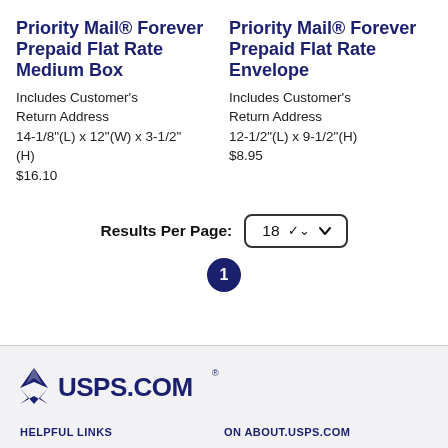Priority Mail® Forever Prepaid Flat Rate Medium Box
Includes Customer's Return Address
14-1/8"(L) x 12"(W) x 3-1/2" (H)
$16.10
Priority Mail® Forever Prepaid Flat Rate Envelope
Includes Customer's Return Address
12-1/2"(L) x 9-1/2"(H)
$8.95
Results Per Page: 18
1
[Figure (logo): USPS.COM logo with eagle icon in navy blue]
HELPFUL LINKS
ON ABOUT.USPS.COM